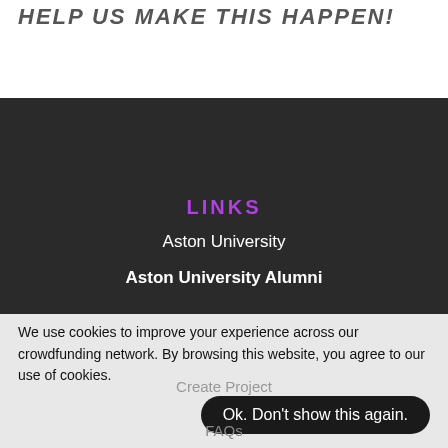HELP US MAKE THIS HAPPEN!
LINKS
Aston University
Aston University Alumni
We use cookies to improve your experience across our crowdfunding network. By browsing this website, you agree to our use of cookies.
Create Project
Ok. Don't show this again.
FAQs